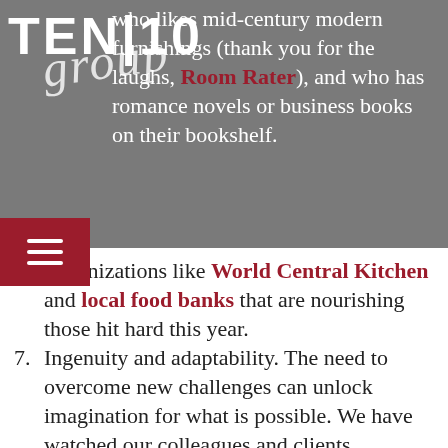(item 5 continuation) who likes mid-century modern furnishings (thank you for the laughs, Room Rater), and who has romance novels or business books on their bookshelf.
6. Organizations like World Central Kitchen and local food banks that are nourishing those hit hard this year.
7. Ingenuity and adaptability. The need to overcome new challenges can unlock imagination for what is possible. We have watched our colleagues and clients demonstrate this time and time again this year.
8. Binge-worthy television. Could we really have survived without Netflix or HBO?
9. Takeout. And the folks who deliver it.
10. (partially visible)